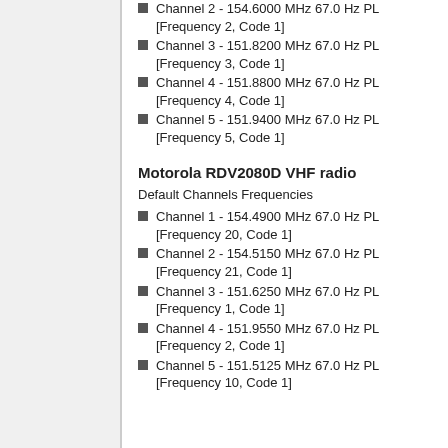Channel 2 - 154.6000 MHz 67.0 Hz PL [Frequency 2, Code 1]
Channel 3 - 151.8200 MHz 67.0 Hz PL [Frequency 3, Code 1]
Channel 4 - 151.8800 MHz 67.0 Hz PL [Frequency 4, Code 1]
Channel 5 - 151.9400 MHz 67.0 Hz PL [Frequency 5, Code 1]
Motorola RDV2080D VHF radio
Default Channels Frequencies
Channel 1 - 154.4900 MHz 67.0 Hz PL [Frequency 20, Code 1]
Channel 2 - 154.5150 MHz 67.0 Hz PL [Frequency 21, Code 1]
Channel 3 - 151.6250 MHz 67.0 Hz PL [Frequency 1, Code 1]
Channel 4 - 151.9550 MHz 67.0 Hz PL [Frequency 2, Code 1]
Channel 5 - 151.5125 MHz 67.0 Hz PL [Frequency 10, Code 1]